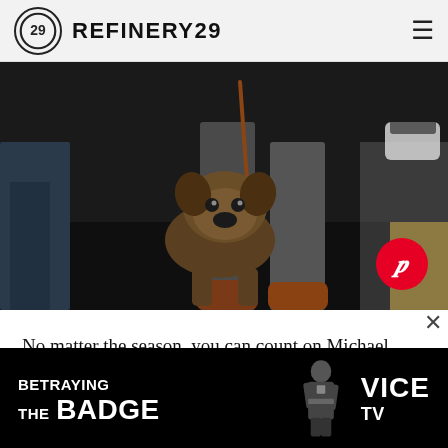REFINERY29
[Figure (photo): A French bulldog on a leash walking at a fashion show runway backstage, with legs of a man in grey trousers and brown leather shoes visible behind. Dark floor. Pinterest share button visible in lower right corner of image.]
No matter the season, you can count on Michael Bastian — the prince of preppy menswear on Dianbol (that's a steroid for all you non-muscleheads) — to have at least one smokeshow model flashing an eight-pack, coming down the runway. His fall '13 show was no exception, apparently...
[Figure (screenshot): Advertisement banner for 'Betraying the Badge' on VICE TV. Black background with bold white text 'BETRAYING THE BADGE' on the left, silhouetted figure of a police officer in the center, and VICE TV logo on the right.]